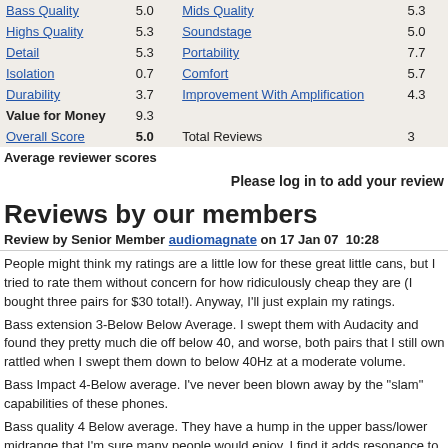| Attribute | Score | Attribute | Score |
| --- | --- | --- | --- |
| Bass Quality | 5.0 | Mids Quality | 5.3 |
| Highs Quality | 5.3 | Soundstage | 5.0 |
| Detail | 5.3 | Portability | 7.7 |
| Isolation | 0.7 | Comfort | 5.7 |
| Durability | 3.7 | Improvement With Amplification | 4.3 |
| Value for Money | 9.3 |  |  |
| Overall Score | 5.0 | Total Reviews | 3 |
Average reviewer scores
Please log in to add your review
Reviews by our members
Review by Senior Member audiomagnate on 17 Jan 07  10:28
People might think my ratings are a little low for these great little cans, but I tried to rate them without concern for how ridiculously cheap they are (I bought three pairs for $30 total!). Anyway, I'll just explain my ratings.
Bass extension 3-Below Below Average. I swept them with Audacity and found they pretty much die off below 40, and worse, both pairs that I still own rattled when I swept them down to below 40Hz at a moderate volume.
Bass Impact 4-Below average. I've never been blown away by the "slam" capabilities of these phones.
Bass quality 4 Below average. They have a hump in the upper bass/lower midrange that I'm sure many people would enjoy. I find it adds resonance to male vocals.